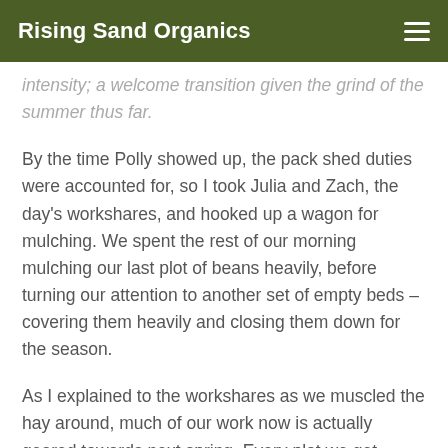Rising Sand Organics
intensity; a welcome transition given the grind of the summer thus far.
By the time Polly showed up, the pack shed duties were accounted for, so I took Julia and Zach, the day’s workshares, and hooked up a wagon for mulching. We spent the rest of our morning mulching our last plot of beans heavily, before turning our attention to another set of empty beds – covering them heavily and closing them down for the season.
As I explained to the workshares as we muscled the hay around, much of our work now is actually geared towards next spring. Every plot we get harvested, mowed, and mulched or cover cropped in a timely fashion this fall equals an enormous time- and labor-